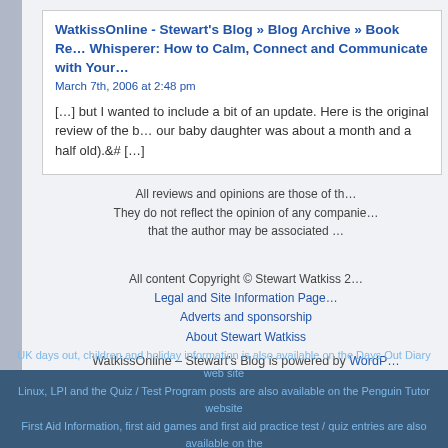WatkissOnline - Stewart's Blog » Blog Archive » Book Re… Whisperer: How to Calm, Connect and Communicate with Your…
March 7th, 2006 at 2:48 pm
[…] but I wanted to include a bit of an update. Here is the original review of the b… our baby daughter was about a month and a half old).&# […]
All reviews and opinions are those of th… They do not reflect the opinion of any companie… that the author may be associated …
All content Copyright © Stewart Watkiss 2…
Legal and Site Information Page
Adverts and sponsorship
About Stewart Watkiss
WatkissOnline – Stewart's Blog is powered by WordP… Entries (RSS) and Comments (RS…
UK days out, children and holiday information is also available on the Days Out Diary web site
Linux, LPI and the Quiz / Test Program posts are also available on the Penguin Tutor website
First Aid Information, first aid games and first aid practice test / quiz entries are also available on the
First Aid Quiz Web site